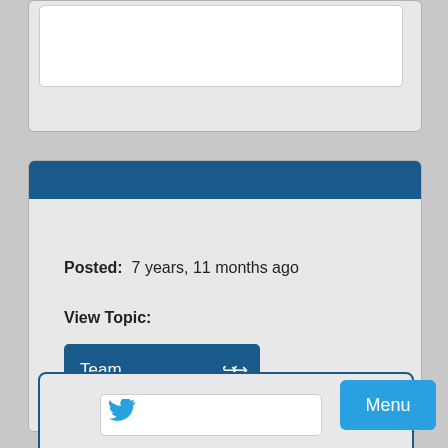[Figure (screenshot): Top portion of a white card/panel, partially visible at top of screen, with a white inner rounded rectangle on a light gray background.]
Posted:  7 years, 11 months ago
View Topic:
[Figure (screenshot): Dark blue button labeled 'Team' with a double forward arrow icon on the right side.]
[Figure (screenshot): Partial view of a card with blue border at bottom of screen, containing a white inner box with a blue icon, and a cyan 'Menu' button overlapping the right edge.]